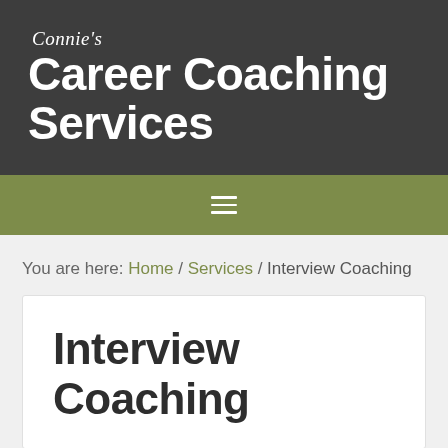Connie's Career Coaching Services
[Figure (other): Hamburger menu icon (three horizontal lines) on olive/green navigation bar]
You are here: Home / Services / Interview Coaching
Interview Coaching